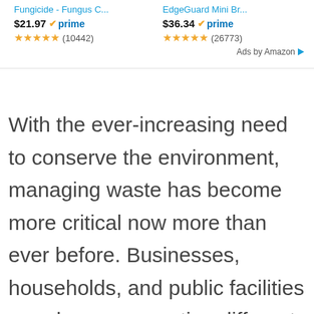[Figure (screenshot): Amazon product ad section showing two products with prices $21.97 and $36.34, both Prime, with star ratings (10442) and (26773) reviews, followed by 'Ads by Amazon' label]
With the ever-increasing need to conserve the environment, managing waste has become more critical now more than ever before. Businesses, households, and public facilities are always generating different types of waste. These range from general, green waste, to e-